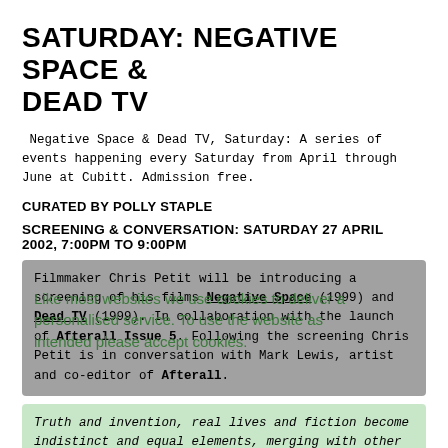SATURDAY: NEGATIVE SPACE & DEAD TV
Negative Space & Dead TV, Saturday: A series of events happening every Saturday from April through June at Cubitt. Admission free.
CURATED BY POLLY STAPLE
SCREENING & CONVERSATION: SATURDAY 27 APRIL 2002, 7:00PM TO 9:00PM
Filmmaker Chris Petit will be introducing a screening of his films Negative Space (1999) and Dead TV (1999). In collaboration with the launch of Afterall Issue 5. Following the screening Chris Petit is in conversation with Mark Lewis, artist and co-editor of Afterall.
Like most websites we use cookies to deliver a personalised service. To use the website as intended please accept cookies.
Truth and invention, real lives and fiction become indistinct and equal elements, merging with other people's work in the found-footage style, to create a single fabric of random